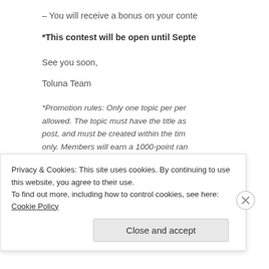– You will receive a bonus on your conte
*This contest will be open until Septe
See you soon,
Toluna Team
*Promotion rules: Only one topic per per allowed. The topic must have the title as post, and must be created within the tim only. Members will earn a 1000-point ran account. Points will be awarded to winne close. Posts must not contain any langu
Privacy & Cookies: This site uses cookies. By continuing to use this website, you agree to their use.
To find out more, including how to control cookies, see here: Cookie Policy
Close and accept